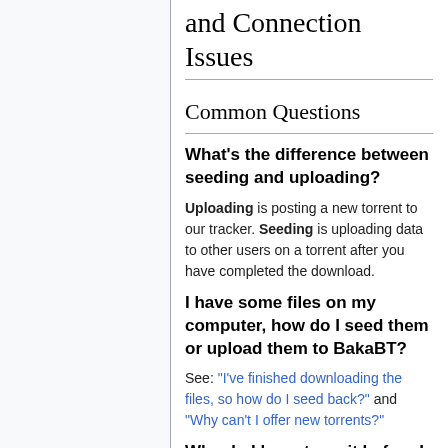and Connection Issues
Common Questions
What's the difference between seeding and uploading?
Uploading is posting a new torrent to our tracker. Seeding is uploading data to other users on a torrent after you have completed the download.
I have some files on my computer, how do I seed them or upload them to BakaBT?
See: "I've finished downloading the files, so how do I seed back?" and "Why can't I offer new torrents?"
Why do I have to wait before I